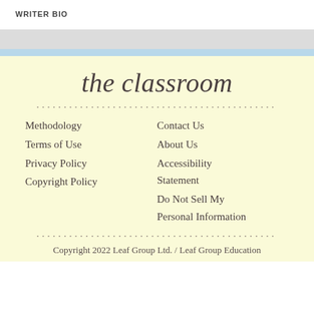WRITER BIO
[Figure (logo): The Classroom logo in cursive script on a cream/yellow background]
Methodology
Terms of Use
Privacy Policy
Copyright Policy
Contact Us
About Us
Accessibility Statement
Do Not Sell My Personal Information
Copyright 2022 Leaf Group Ltd. / Leaf Group Education